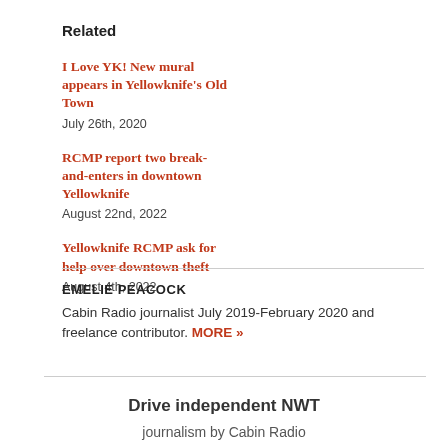Related
I Love YK! New mural appears in Yellowknife's Old Town
July 26th, 2020
RCMP report two break-and-enters in downtown Yellowknife
August 22nd, 2022
Yellowknife RCMP ask for help over downtown theft
August 4th, 2022
EMELIE PEACOCK
Cabin Radio journalist July 2019-February 2020 and freelance contributor. MORE »
Drive independent NWT